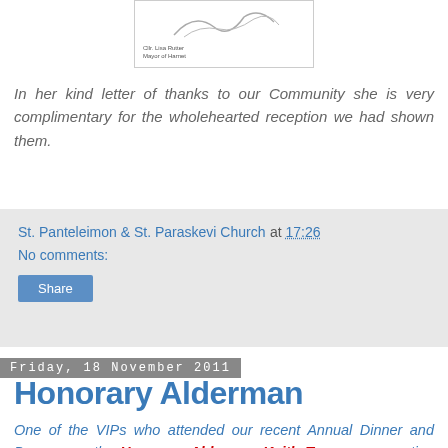[Figure (illustration): Signature image with text 'Cllr. Lisa Rutter, Mayor of Harnet' below it, inside a bordered box]
In her kind letter of thanks to our Community she is very complimentary for the wholehearted reception we had shown them.
St. Panteleimon & St. Paraskevi Church at 17:26
No comments:
Share
Friday, 18 November 2011
Honorary Alderman
One of the VIPs who attended our recent Annual Dinner and Dance was the Honorary Alderman Keith Toms, representing The Worshipful The Mayor of the London